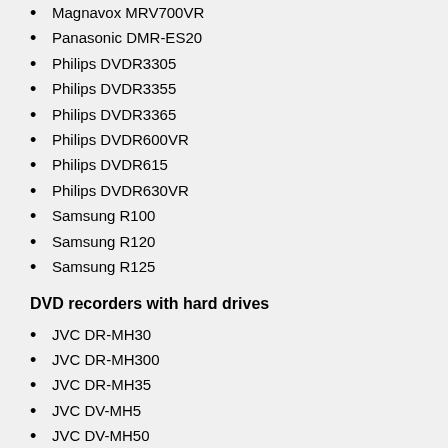Magnavox MRV700VR
Panasonic DMR-ES20
Philips DVDR3305
Philips DVDR3355
Philips DVDR3365
Philips DVDR600VR
Philips DVDR615
Philips DVDR630VR
Samsung R100
Samsung R120
Samsung R125
DVD recorders with hard drives
JVC DR-MH30
JVC DR-MH300
JVC DR-MH35
JVC DV-MH5
JVC DV-MH50
JVC DV-MH55
LG Electronics RH-4820
LG Electronics RH-7000
Lite-On LVW 5020
Lite-On LVW 5045
Samsung HR700
DVD recorder with VCR combo
Allegro ABR521
Daewoo DVR-540
GoVideo VR4940